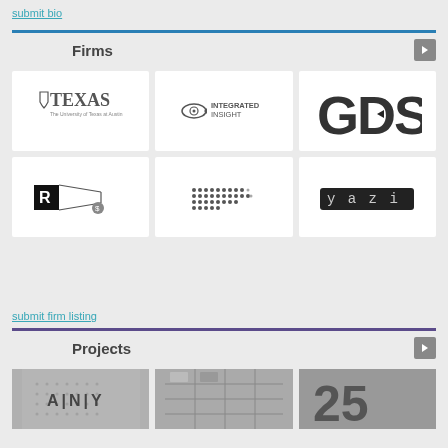submit bio
Firms
[Figure (logo): University of Texas at Austin logo]
[Figure (logo): Integrated Insight logo]
[Figure (logo): GDS logo]
[Figure (logo): R-dollar pencil logo]
[Figure (logo): Dot matrix pattern logo]
[Figure (logo): yazi logo]
submit firm listing
Projects
[Figure (photo): ANY project photo]
[Figure (photo): Grid/shelving project photo]
[Figure (photo): Large letters project photo]